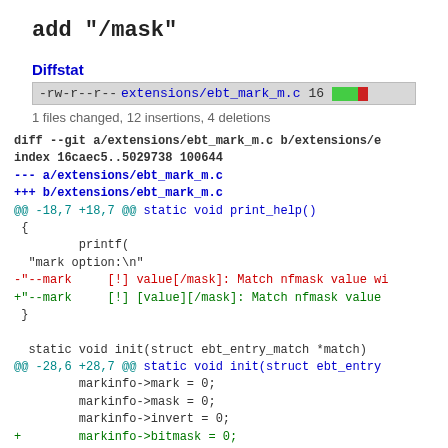add "/mask"
Diffstat
| -rw-r--r-- | extensions/ebt_mark_m.c | 16 | [bar] |
1 files changed, 12 insertions, 4 deletions
diff --git a/extensions/ebt_mark_m.c b/extensions/e
index 16caec5..5029738 100644
--- a/extensions/ebt_mark_m.c
+++ b/extensions/ebt_mark_m.c
@@ -18,7 +18,7 @@ static void print_help()
 {
         printf(
  "mark option:\n"
 -"--mark     [!] value[/mask]: Match nfmask value wi
 +"--mark     [!] [value][/mask]: Match nfmask value
  }

  static void init(struct ebt_entry_match *match)
@@ -28,6 +28,7 @@ static void init(struct ebt_entry
         markinfo->mark = 0;
         markinfo->mask = 0;
         markinfo->invert = 0;
 +        markinfo->bitmask = 0;
  }